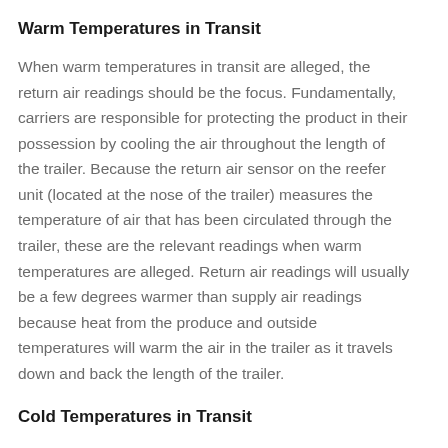Warm Temperatures in Transit
When warm temperatures in transit are alleged, the return air readings should be the focus. Fundamentally, carriers are responsible for protecting the product in their possession by cooling the air throughout the length of the trailer. Because the return air sensor on the reefer unit (located at the nose of the trailer) measures the temperature of air that has been circulated through the trailer, these are the relevant readings when warm temperatures are alleged. Return air readings will usually be a few degrees warmer than supply air readings because heat from the produce and outside temperatures will warm the air in the trailer as it travels down and back the length of the trailer.
Cold Temperatures in Transit